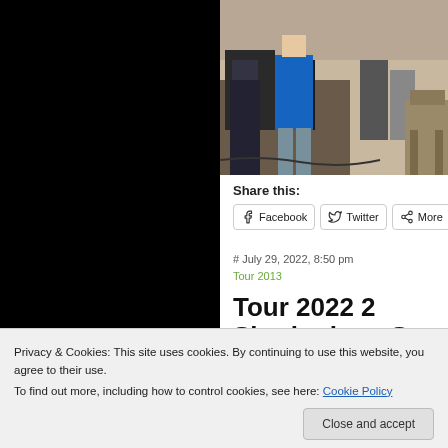[Figure (photo): Partial photo showing people at what appears to be a concert or event venue, one person in a blue t-shirt visible, chairs in background]
Share this:
Facebook   Twitter   More
# July 29, 2022, 8:50 pm
Tour 2013
Tour 2022 2 Shreingham S Concert
Privacy & Cookies: This site uses cookies. By continuing to use this website, you agree to their use.
To find out more, including how to control cookies, see here: Cookie Policy